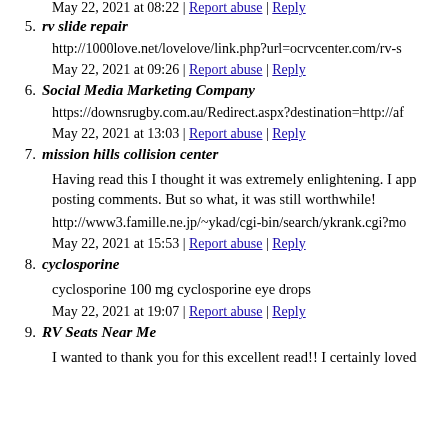May 22, 2021 at 08:22 | Report abuse | Reply
5. rv slide repair
http://1000love.net/lovelove/link.php?url=ocrvcenter.com/rv-s
May 22, 2021 at 09:26 | Report abuse | Reply
6. Social Media Marketing Company
https://downsrugby.com.au/Redirect.aspx?destination=http://af
May 22, 2021 at 13:03 | Report abuse | Reply
7. mission hills collision center
Having read this I thought it was extremely enlightening. I app posting comments. But so what, it was still worthwhile!
http://www3.famille.ne.jp/~ykad/cgi-bin/search/ykrank.cgi?mo
May 22, 2021 at 15:53 | Report abuse | Reply
8. cyclosporine
cyclosporine 100 mg cyclosporine eye drops
May 22, 2021 at 19:07 | Report abuse | Reply
9. RV Seats Near Me
I wanted to thank you for this excellent read!! I certainly loved